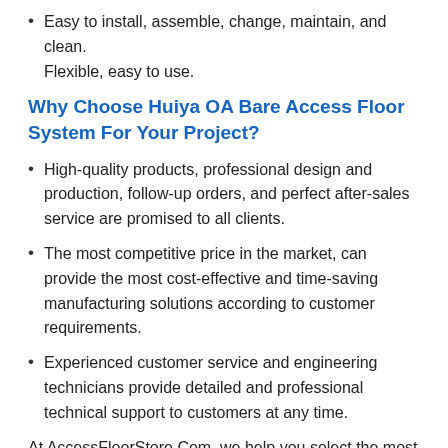Easy to install, assemble, change, maintain, and clean. Flexible, easy to use.
Why Choose Huiya OA Bare Access Floor System For Your Project?
High-quality products, professional design and production, follow-up orders, and perfect after-sales service are promised to all clients.
The most competitive price in the market, can provide the most cost-effective and time-saving manufacturing solutions according to customer requirements.
Experienced customer service and engineering technicians provide detailed and professional technical support to customers at any time.
At AccessFloorStore.Com, we help you select the most